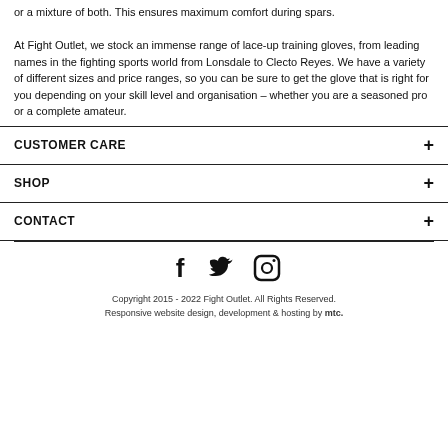or a mixture of both. This ensures maximum comfort during spars.

At Fight Outlet, we stock an immense range of lace-up training gloves, from leading names in the fighting sports world from Lonsdale to Clecto Reyes. We have a variety of different sizes and price ranges, so you can be sure to get the glove that is right for you depending on your skill level and organisation – whether you are a seasoned pro or a complete amateur.
CUSTOMER CARE
SHOP
CONTACT
[Figure (illustration): Social media icons: Facebook, Twitter, Instagram]
Copyright 2015 - 2022 Fight Outlet. All Rights Reserved.
Responsive website design, development & hosting by mtc.